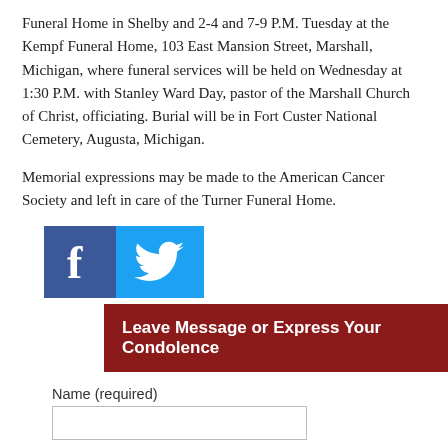Funeral Home in Shelby and 2-4 and 7-9 P.M. Tuesday at the Kempf Funeral Home, 103 East Mansion Street, Marshall, Michigan, where funeral services will be held on Wednesday at 1:30 P.M. with Stanley Ward Day, pastor of the Marshall Church of Christ, officiating. Burial will be in Fort Custer National Cemetery, Augusta, Michigan.
Memorial expressions may be made to the American Cancer Society and left in care of the Turner Funeral Home.
[Figure (logo): Facebook and Twitter social media icons side by side]
Leave Message or Express Your Condolence
Name (required)
Email (Required - will not be published)
(Private) Do not post condolence to the website. Please